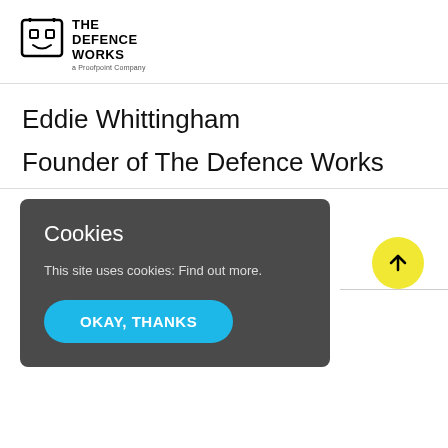[Figure (logo): The Defence Works logo — a Proofpoint Company, with a shield/face icon and bold text]
Eddie Whittingham
Founder of The Defence Works
Cookies
This site uses cookies: Find out more.
OKAY, THANKS
[Figure (other): Yellow circular button with an upward arrow (scroll-to-top button)]